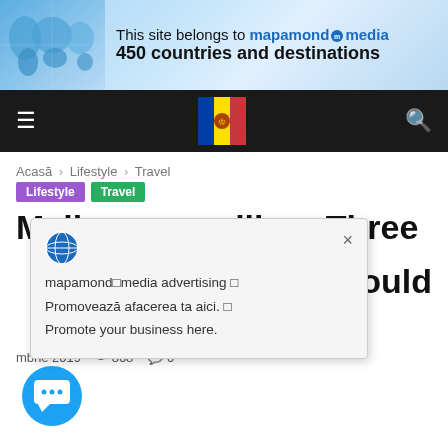[Figure (illustration): Banner: world map on left with blue gradient background, text 'This site belongs to mapamond media' and '450 countries and destinations']
Navigation bar with hamburger menu, Andorra flag circle logo, search icon
Acasă › Lifestyle › Travel
Lifestyle  Travel
Melbourne calling: Three should
[Figure (screenshot): Popup dialog with globe icon, close X button, text: 'mapamond media advertising Promovează afacerea ta aici. Promote your business here.']
mbrie 2019   868   0
[Figure (illustration): Blue circular chat/messaging button at bottom left]